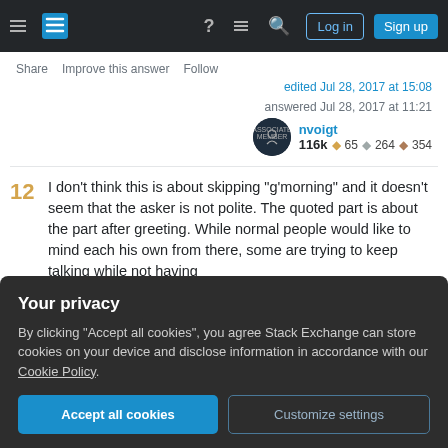Stack Exchange navigation bar with Log in and Sign up buttons
Share  |  Improve this answer  |  Follow
edited Jul 28, 2017 at 15:08
answered Jul 28, 2017 at 11:21
nvoigt  116k  ◆65  ◆264  ◆354
12  I don't think this is about skipping "g'morning" and it doesn't seem that the asker is not polite. The quoted part is about the part after greeting. While normal people would like to mind each his own from there, some are trying to keep talking while not having
Your privacy
By clicking "Accept all cookies", you agree Stack Exchange can store cookies on your device and disclose information in accordance with our Cookie Policy.
Accept all cookies
Customize settings
any importance when it comes to the of success in the workplace. The majority of the western world has